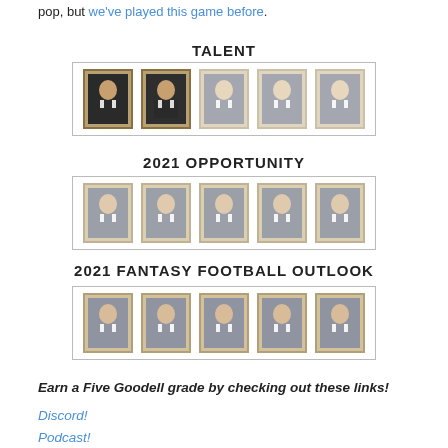pop, but we've played this game before.
TALENT
[Figure (infographic): Five framed portrait images of Roger Goodell in a row, first two darker/more prominent, last three faded]
2021 OPPORTUNITY
[Figure (infographic): Five framed portrait images of Roger Goodell in a row, all faded/lighter tone]
2021 FANTASY FOOTBALL OUTLOOK
[Figure (infographic): Five framed portrait images of Roger Goodell in a row, medium tone]
Earn a Five Goodell grade by checking out these links!
Discord!
Podcast!